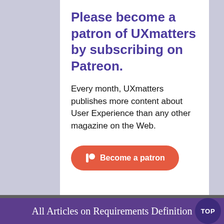Please become a patron of UXmatters by subscribing on Patreon.
Every month, UXmatters publishes more content about User Experience than any other magazine on the Web.
Become a patron
CONTINUE READING...
All Articles on Requirements Definition
Using Objectives and Key Results to